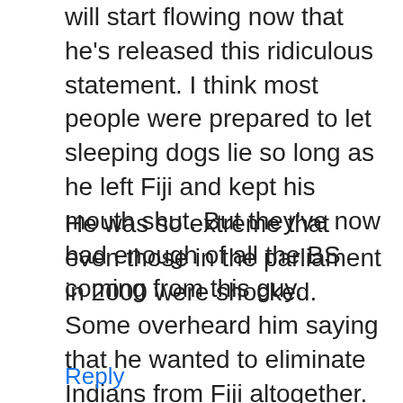will start flowing now that he's released this ridiculous statement. I think most people were prepared to let sleeping dogs lie so long as he left Fiji and kept his mouth shut. But they've now had enough of all the BS coming from this guy.
He was so extreme that even those in the parliament in 2000 were shocked. Some overheard him saying that he wanted to eliminate Indians from Fiji altogether. He was certainly one of those calling the shots and George Speight always treated him with respect. Remember that saying – every picture tells a story? Time for people to open their eyes and look at them!
Reply